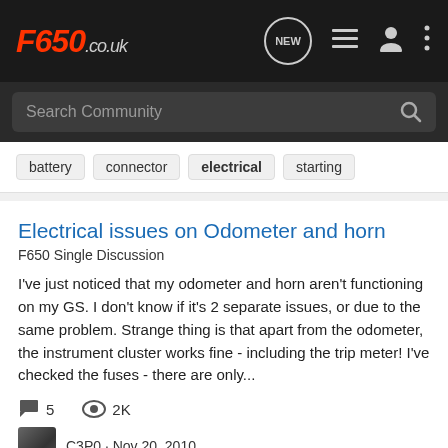F650.co.uk
Search Community
battery  connector  electrical  starting
Electrical issues on Odometer and horn
F650 Single Discussion
I've just noticed that my odometer and horn aren't functioning on my GS. I don't know if it's 2 separate issues, or due to the same problem. Strange thing is that apart from the odometer, the instrument cluster works fine - including the trip meter! I've checked the fuses - there are only...
5  2K
C3P0 · Nov 20, 2010
electrical  horn  issues  odometer